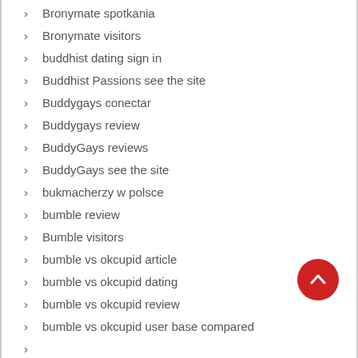Bronymate spotkania
Bronymate visitors
buddhist dating sign in
Buddhist Passions see the site
Buddygays conectar
Buddygays review
BuddyGays reviews
BuddyGays see the site
bukmacherzy w polsce
bumble review
Bumble visitors
bumble vs okcupid article
bumble vs okcupid dating
bumble vs okcupid review
bumble vs okcupid user base compared
bumble vs okcupid...